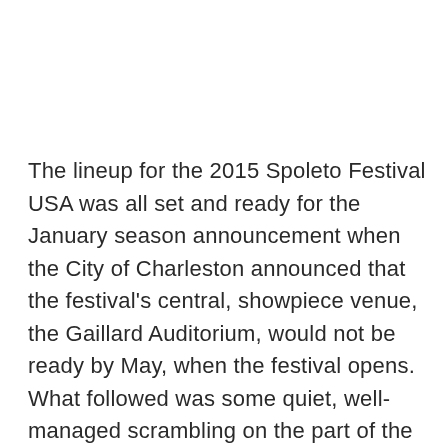The lineup for the 2015 Spoleto Festival USA was all set and ready for the January season announcement when the City of Charleston announced that the festival's central, showpiece venue, the Gaillard Auditorium, would not be ready by May, when the festival opens. What followed was some quiet, well-managed scrambling on the part of the Spoleto staff to rework the giant Tetris game that their program had become — they moved the shows that had been scheduled for the Gaillard, canceled some special events, and went hunting for both new venues and new